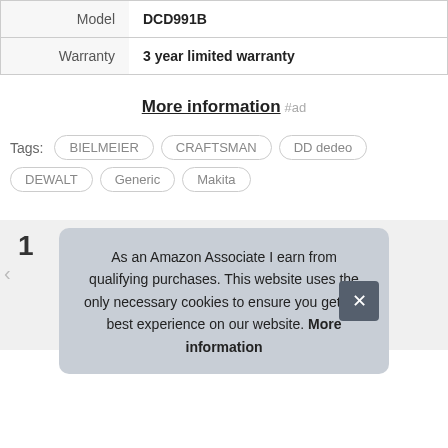| Model | DCD991B |
| Warranty | 3 year limited warranty |
More information #ad
Tags: BIELMEIER  CRAFTSMAN  DD dedeo  DEWALT  Generic  Makita
As an Amazon Associate I earn from qualifying purchases. This website uses the only necessary cookies to ensure you get the best experience on our website. More information